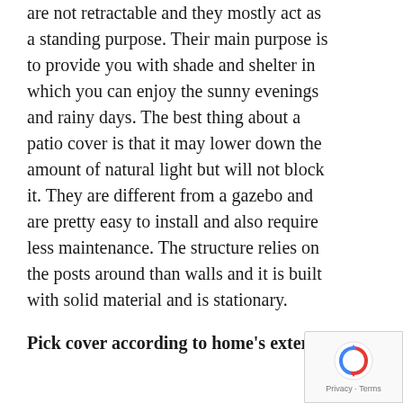are not retractable and they mostly act as a standing purpose. Their main purpose is to provide you with shade and shelter in which you can enjoy the sunny evenings and rainy days. The best thing about a patio cover is that it may lower down the amount of natural light but will not block it. They are different from a gazebo and are pretty easy to install and also require less maintenance. The structure relies on the posts around than walls and it is built with solid material and is stationary.
Pick cover according to home's exterior